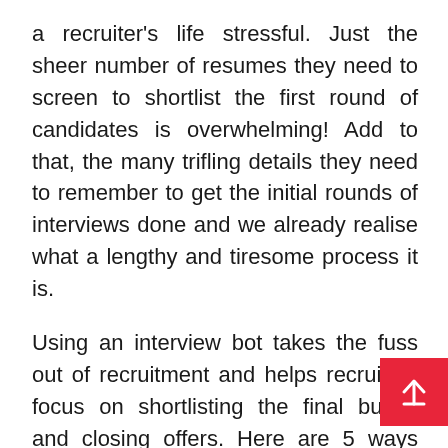a recruiter's life stressful. Just the sheer number of resumes they need to screen to shortlist the first round of candidates is overwhelming! Add to that, the many trifling details they need to remember to get the initial rounds of interviews done and we already realise what a lengthy and tiresome process it is.
Using an interview bot takes the fuss out of recruitment and helps recruiters focus on shortlisting the final bunch and closing offers. Here are 5 ways interview bots can help streamline the process of interview